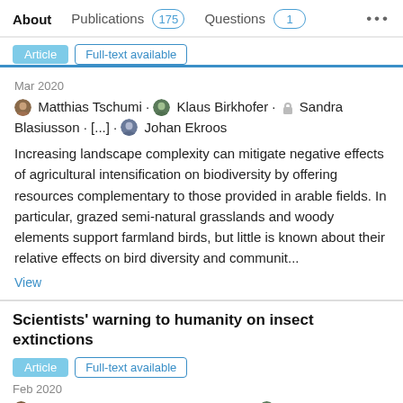About  Publications 175  Questions 1  ...
Mar 2020
Matthias Tschumi · Klaus Birkhofer · Sandra Blasiusson · [...] · Johan Ekroos
Increasing landscape complexity can mitigate negative effects of agricultural intensification on biodiversity by offering resources complementary to those provided in arable fields. In particular, grazed semi-natural grasslands and woody elements support farmland birds, but little is known about their relative effects on bird diversity and communit...
View
Scientists' warning to humanity on insect extinctions
Article  Full-text available
Feb 2020
Pedro Cardoso · Philip S Barton · Klaus Birkhofer · [...] · Michael J. Samways